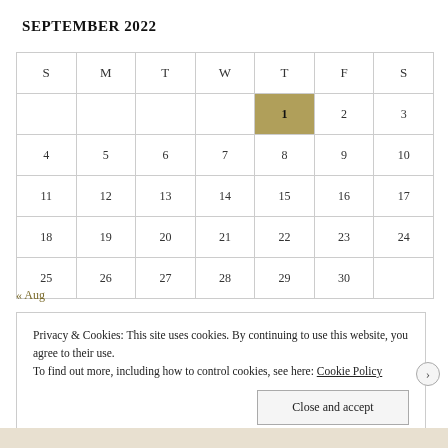SEPTEMBER 2022
| S | M | T | W | T | F | S |
| --- | --- | --- | --- | --- | --- | --- |
|  |  |  |  | 1 | 2 | 3 |
| 4 | 5 | 6 | 7 | 8 | 9 | 10 |
| 11 | 12 | 13 | 14 | 15 | 16 | 17 |
| 18 | 19 | 20 | 21 | 22 | 23 | 24 |
| 25 | 26 | 27 | 28 | 29 | 30 |  |
« Aug
Privacy & Cookies: This site uses cookies. By continuing to use this website, you agree to their use.
To find out more, including how to control cookies, see here: Cookie Policy
Close and accept